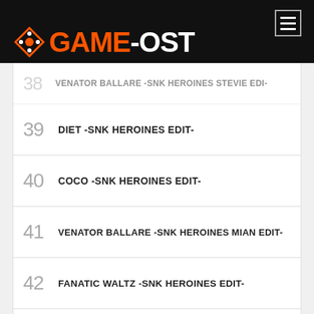GAME-OST
38 VENATOR BALLARE -SNK HEROINES STEVIE EDI-
39 DIET -SNK HEROINES EDIT-
40 COCO -SNK HEROINES EDIT-
41 VENATOR BALLARE -SNK HEROINES MIAN EDIT-
42 FANATIC WALTZ -SNK HEROINES EDIT-
43 BIG SHOT! -SNK HEROINES EDIT-
44 SIVILELU PASSION